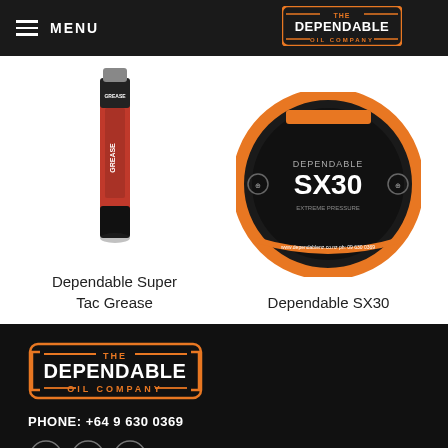MENU — The Dependable Oil Company
[Figure (photo): Product image: Dependable Super Tac Grease tube (red/black)]
[Figure (photo): Product image: Dependable SX30 round tin (black/orange)]
Dependable Super Tac Grease
Dependable SX30
[Figure (logo): The Dependable Oil Company logo — large version in footer]
PHONE: +64 9 630 0369
[Figure (other): Social media icons: Facebook, Instagram, Email]